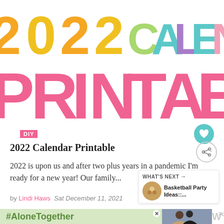[Figure (illustration): Large colorful text graphic showing '2022 CALENDAR PRINTABLE' in bold fun typography. '2022' in orange/yellow letters, 'CALENDAR' in multicolor (green, teal, purple, pink), 'PRINTABLE' in large pink/coral letters.]
DIY
2022 Calendar Printable
2022 is upon us and after two plus years in a pandemic I'm ready for a new year! Our family...
by Lindi Haws   Sat December 11, 2021
[Figure (infographic): WHAT'S NEXT: Basketball Party Ideas:....]
[Figure (infographic): Advertisement banner: #AloneTogether with photo of people waving]